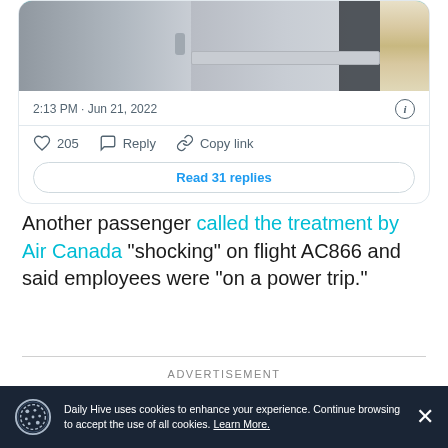[Figure (screenshot): Tweet card showing airplane interior photo, timestamp 2:13 PM · Jun 21, 2022, with 205 likes, Reply, Copy link actions, and Read 31 replies button]
Another passenger called the treatment by Air Canada "shocking" on flight AC866 and said employees were "on a power trip."
ADVERTISEMENT
Daily Hive uses cookies to enhance your experience. Continue browsing to accept the use of all cookies. Learn More.